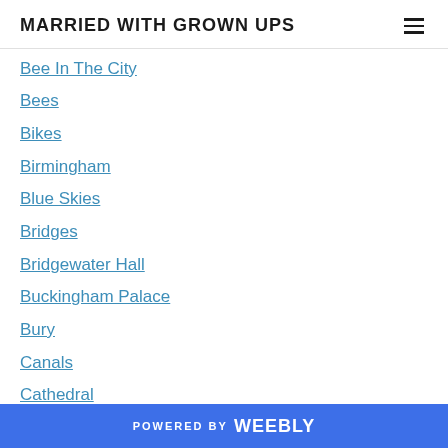MARRIED WITH GROWN UPS
Bee In The City
Bees
Bikes
Birmingham
Blue Skies
Bridges
Bridgewater Hall
Buckingham Palace
Bury
Canals
Cathedral
Celebrations
Christmas
Cities
City
POWERED BY weebly